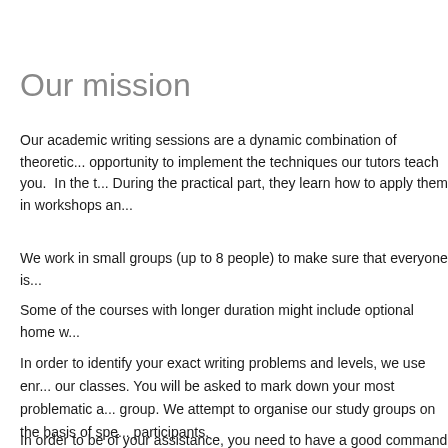Our mission
Our academic writing sessions are a dynamic combination of theoretic... opportunity to implement the techniques our tutors teach you. In the t... During the practical part, they learn how to apply them in workshops an...
We work in small groups (up to 8 people) to make sure that everyone is...
Some of the courses with longer duration might include optional home w...
In order to identify your exact writing problems and levels, we use enr... our classes. You will be asked to mark down your most problematic a... group. We attempt to organise our study groups on the basis of spe... participants.
In order to be of your assistance, you need to have a good command o...